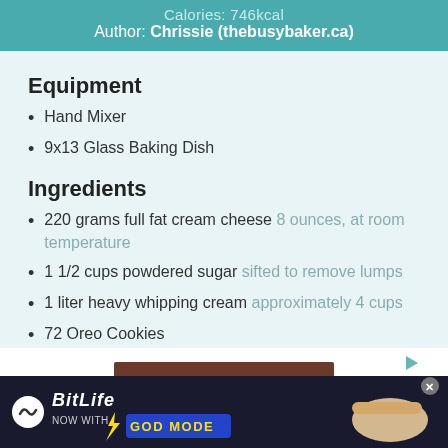Calories: 746kcal
Author: Chrissie (thebusybaker.ca)
Equipment
Hand Mixer
9x13 Glass Baking Dish
Ingredients
220 grams full fat cream cheese 8 ounces, at room temperature
1 1/2 cups powdered sugar sifted to remove lumps
1 liter heavy whipping cream approximately 4 cups
72 Oreo Cookies
[Figure (other): Advertisement banner for BitLife game with 'NOW WITH GOD MODE' text and hand graphic]